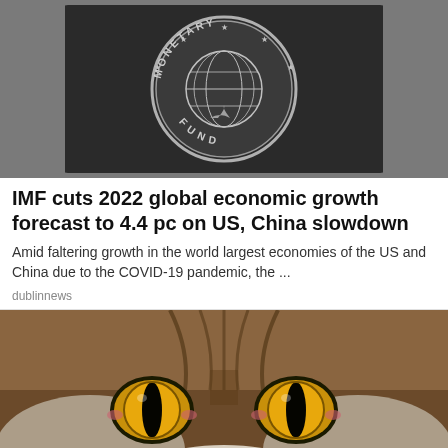[Figure (photo): Close-up of an IMF (International Monetary Fund) metal plaque/logo with globe emblem and text 'MONETARY FUND' around the edge, in silver/gray tones]
IMF cuts 2022 global economic growth forecast to 4.4 pc on US, China slowdown
Amid faltering growth in the world largest economies of the US and China due to the COVID-19 pandemic, the ...
dublinnews
[Figure (photo): Close-up photograph of a cat's face with striking golden/amber eyes, tabby fur markings in brown and white, nose visible at bottom]